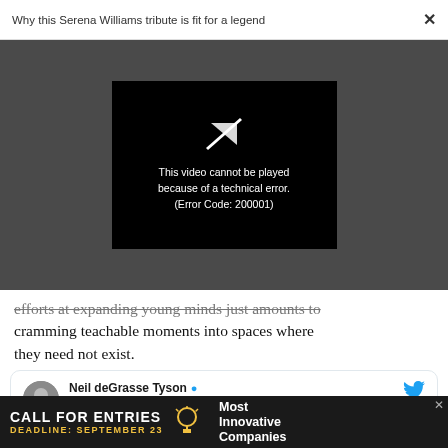Why this Serena Williams tribute is fit for a legend  ×
[Figure (screenshot): Video player showing error: 'This video cannot be played because of a technical error. (Error Code: 200001)' on black background within dark gray video area]
efforts at expanding young minds just amounts to cramming teachable moments into spaces where they need not exist.
[Figure (screenshot): Twitter embed showing Neil deGrasse Tyson with verified badge and Twitter bird icon]
[Figure (screenshot): Ad banner: CALL FOR ENTRIES DEADLINE: SEPTEMBER 23 [lightbulb icon] Most Innovative Companies with close X button]